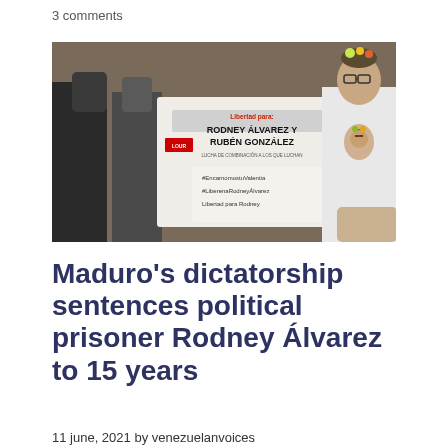3 comments
[Figure (photo): Protest photo showing people holding banners reading 'Libertad para: Rodney Álvarez y Rubén González' and handwritten signs with '#EncarnamostuValentia #LiberenaRodneyÁlvarez Libertad para Rodney'. A woman wearing a Frida Kahlo t-shirt is prominently visible.]
Maduro's dictatorship sentences political prisoner Rodney Álvarez to 15 years
11 june, 2021 by venezuelanvoices